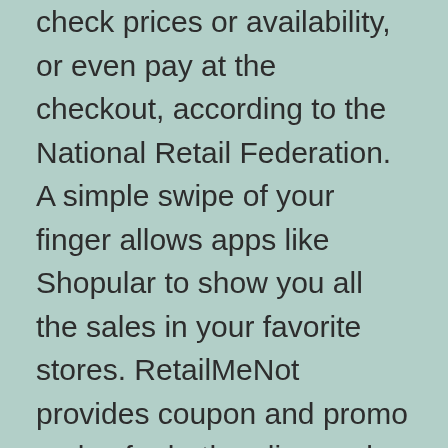check prices or availability, or even pay at the checkout, according to the National Retail Federation. A simple swipe of your finger allows apps like Shopular to show you all the sales in your favorite stores. RetailMeNot provides coupon and promo codes for both online and in-store shopping. This is the best time to buy thesecheap finds throughout the year.
Buy experiences
It's easy to get caught up in the materialism of the holidays and forget the true meaning of